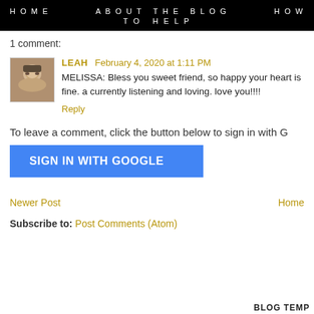HOME    ABOUT THE BLOG    HOW TO HELP
1 comment:
LEAH   February 4, 2020 at 1:11 PM
MELISSA: Bless you sweet friend, so happy your heart is fine. a currently listening and loving. love you!!!!
Reply
To leave a comment, click the button below to sign in with G
SIGN IN WITH GOOGLE
Newer Post    Home
Subscribe to: Post Comments (Atom)
BLOG TEMP